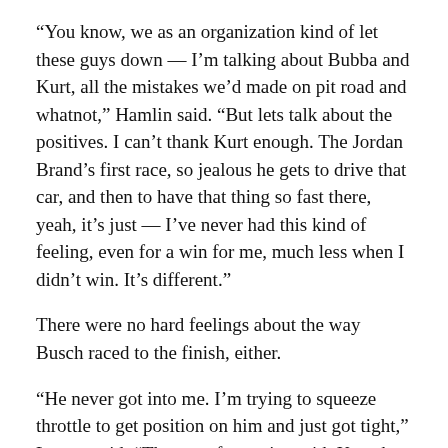“You know, we as an organization kind of let these guys down — I’m talking about Bubba and Kurt, all the mistakes we’d made on pit road and whatnot,” Hamlin said. “But lets talk about the positives. I can’t thank Kurt enough. The Jordan Brand’s first race, so jealous he gets to drive that car, and then to have that thing so fast there, yeah, it’s just — I’ve never had this kind of feeling, even for a win for me, much less when I didn’t win. It’s different.”
There were no hard feelings about the way Busch raced to the finish, either.
“He never got into me. I’m trying to squeeze throttle to get position on him and just got tight,” Larson said. “That was fun racing with Kurt the last half of the race. I was trying hard the whole time.”
No kidding. At one point with 85 to go, Larson went nearly sideways while racing with Busch for the lead off T...